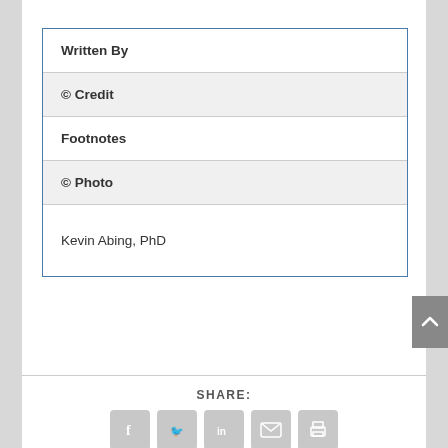| Written By |
| © Credit |
| Footnotes |
| © Photo |
| Kevin Abing, PhD |
SHARE:
[Figure (infographic): Social share icons: Facebook, Twitter, LinkedIn, Email, Print]